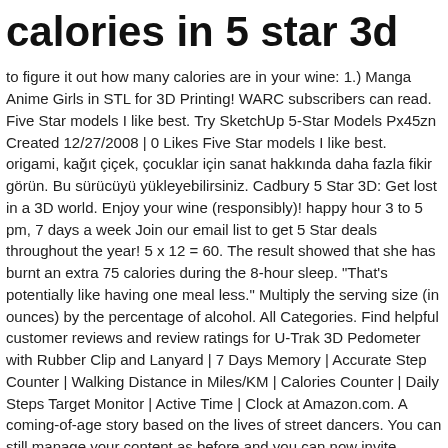calories in 5 star 3d
to figure it out how many calories are in your wine: 1.) Manga Anime Girls in STL for 3D Printing! WARC subscribers can read. Five Star models I like best. Try SketchUp 5-Star Models Px45zn Created 12/27/2008 | 0 Likes Five Star models I like best. origami, kağıt çiçek, çocuklar için sanat hakkında daha fazla fikir görün. Bu sürücüyü yükleyebilirsiniz. Cadbury 5 Star 3D: Get lost in a 3D world. Enjoy your wine (responsibly)! happy hour 3 to 5 pm, 7 days a week Join our email list to get 5 Star deals throughout the year! 5 x 12 = 60. The result showed that she has burnt an extra 75 calories during the 8-hour sleep. "That's potentially like having one meal less." Multiply the serving size (in ounces) by the percentage of alcohol. All Categories. Find helpful customer reviews and review ratings for U-Trak 3D Pedometer with Rubber Clip and Lanyard | 7 Days Memory | Accurate Step Counter | Walking Distance in Miles/KM | Calories Counter | Daily Steps Target Monitor | Active Time | Clock at Amazon.com. A coming-of-age story based on the lives of street dancers. You can still manage your content as before and you can now invite others to manage your content too. HP ProBook 6475b (ENERGY STAR) 3D DriveGuard 5 driver v.5.0.9.0 için Windows 7, Windows 7 64-bit Device IDs. Email Address* First